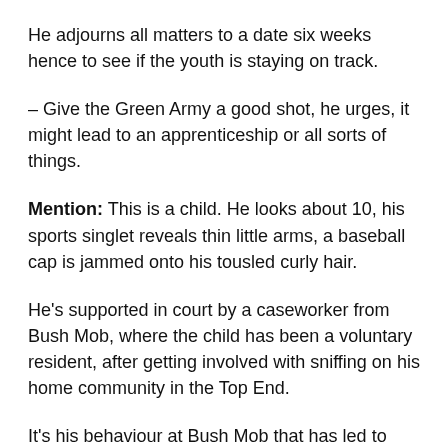He adjourns all matters to a date six weeks hence to see if the youth is staying on track.
– Give the Green Army a good shot, he urges, it might lead to an apprenticeship or all sorts of things.
Mention: This is a child. He looks about 10, his sports singlet reveals thin little arms, a baseball cap is jammed onto his tousled curly hair.
He's supported in court by a caseworker from Bush Mob, where the child has been a voluntary resident, after getting involved with sniffing on his home community in the Top End.
It's his behaviour at Bush Mob that has led to criminal charges being laid that have admitted all of them to...